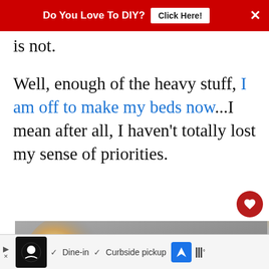Do You Love To DIY? | Click Here!
is not.
Well, enough of the heavy stuff, I am off to make my beds now...I mean after all, I haven't totally lost my sense of priorities.
[Figure (photo): Photo of a ceiling light fixture glowing warmly against a grey ceiling]
[Figure (screenshot): What's Next promo: It's A Project Weekend!]
Dine-in  Curbside pickup  [ad bar]